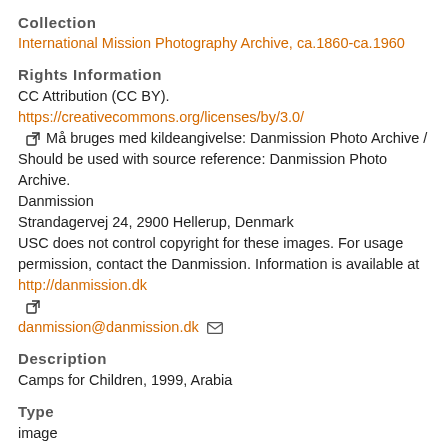Collection
International Mission Photography Archive, ca.1860-ca.1960
Rights Information
CC Attribution (CC BY). https://creativecommons.org/licenses/by/3.0/ [external link icon] Må bruges med kildeangivelse: Danmission Photo Archive / Should be used with source reference: Danmission Photo Archive. Danmission Strandagervej 24, 2900 Hellerup, Denmark USC does not control copyright for these images. For usage permission, contact the Danmission. Information is available at http://danmission.dk [external link icon] danmission@danmission.dk [email icon]
Description
Camps for Children, 1999, Arabia
Type
image
Format
image/jpeg
photographs